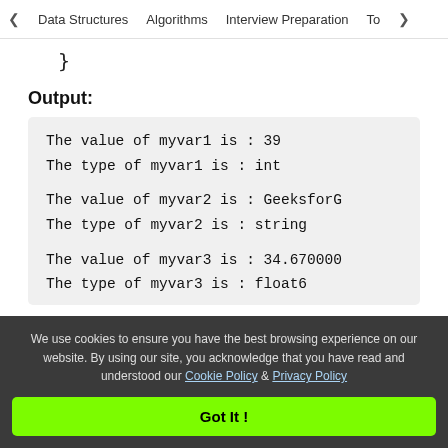< Data Structures   Algorithms   Interview Preparation   To>
}
Output:
The value of myvar1 is : 39
The type of myvar1 is : int

The value of myvar2 is : GeeksforG
The type of myvar2 is : string

The value of myvar3 is : 34.670000
The type of myvar3 is : float6
We use cookies to ensure you have the best browsing experience on our website. By using our site, you acknowledge that you have read and understood our Cookie Policy & Privacy Policy
Got It !